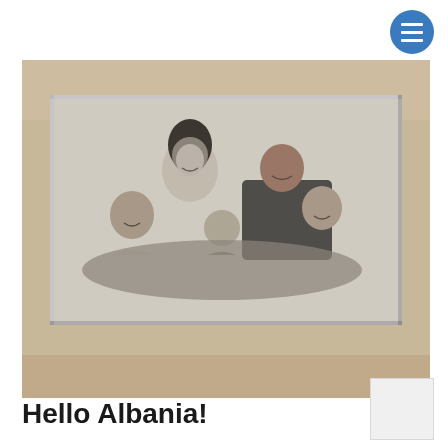[Figure (photo): A black-and-white family portrait photo mounted on a wall. The photo shows two parents and three children posing together smiling. The photo is displayed as a large print on a beige/cream colored wall.]
Hello Albania!